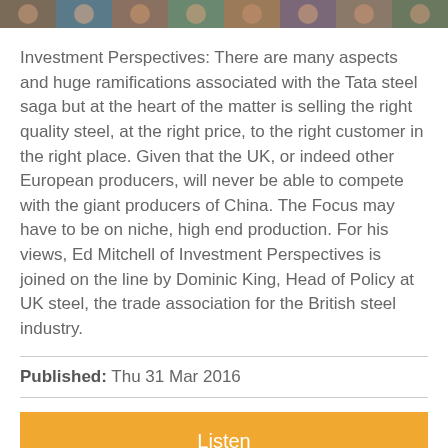[Figure (photo): Horizontal image strip showing multiple small photographs of people]
Investment Perspectives: There are many aspects and huge ramifications associated with the Tata steel saga but at the heart of the matter is selling the right quality steel, at the right price, to the right customer in the right place. Given that the UK, or indeed other European producers, will never be able to compete with the giant producers of China. The Focus may have to be on niche, high end production. For his views, Ed Mitchell of Investment Perspectives is joined on the line by Dominic King, Head of Policy at UK steel, the trade association for the British steel industry.
Published: Thu 31 Mar 2016
Listen
Share Podcast